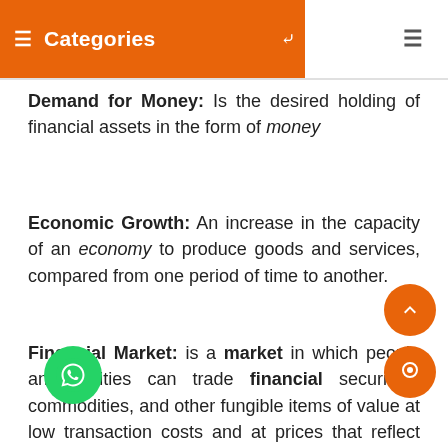≡ Categories ∨
Demand for Money: Is the desired holding of financial assets in the form of money
Economic Growth: An increase in the capacity of an economy to produce goods and services, compared from one period of time to another.
Financial Market: is a market in which people and entities can trade financial securities, commodities, and other fungible items of value at low transaction costs and at prices that reflect supply and demand.